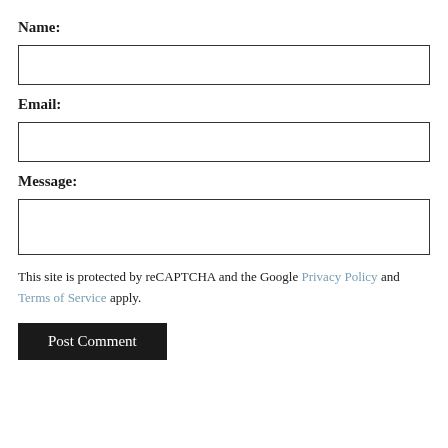Name:
[Figure (other): Text input field for Name]
Email:
[Figure (other): Text input field for Email]
Message:
[Figure (other): Textarea input field for Message]
This site is protected by reCAPTCHA and the Google Privacy Policy and Terms of Service apply.
[Figure (other): Post Comment submit button]